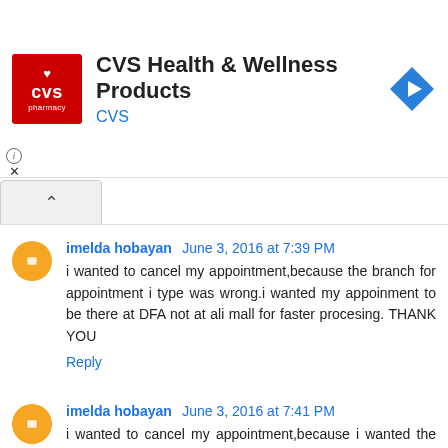[Figure (logo): CVS Health & Wellness Products advertisement banner with CVS pharmacy logo (red square) on left, title text, and blue navigation arrow icon on right]
imelda hobayan June 3, 2016 at 7:39 PM
i wanted to cancel my appointment,because the branch for appointment i type was wrong.i wanted my appoinment to be there at DFA not at ali mall for faster procesing. THANK YOU
Reply
imelda hobayan June 3, 2016 at 7:41 PM
i wanted to cancel my appointment,because i wanted the place from ali mall to DFA.THANK YOU
Reply